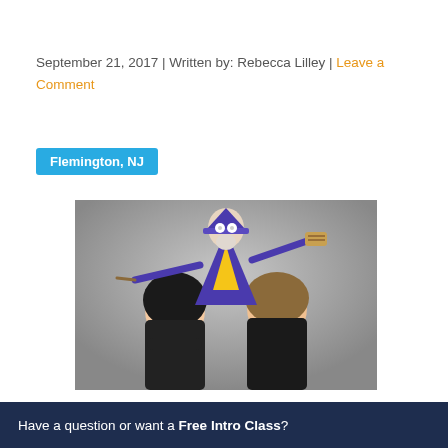September 21, 2017 | Written by: Rebecca Lilley | Leave a Comment
Flemington, NJ
[Figure (photo): Two young women in black shirts posing back-to-back with an animated wizard mascot (purple and gold robes, holding a wand and scroll) overlaid behind and above them against a grey studio background.]
Have a question or want a Free Intro Class?